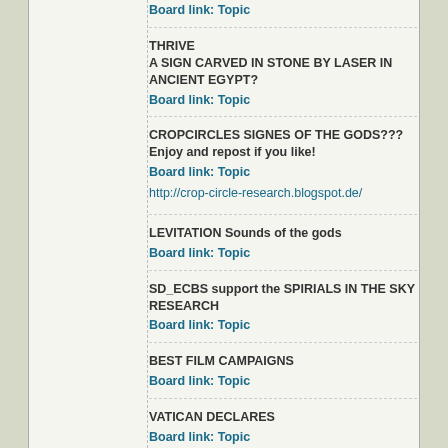Board link: Topic
THRIVE
A SIGN CARVED IN STONE BY LASER IN ANCIENT EGYPT?
Board link: Topic
CROPCIRCLES SIGNES OF THE GODS??? Enjoy and repost if you like!
Board link: Topic
http://crop-circle-research.blogspot.de/
LEVITATION Sounds of the gods
Board link: Topic
SD_ECBS support the SPIRIALS IN THE SKY RESEARCH
Board link: Topic
BEST FILM CAMPAIGNS
Board link: Topic
VATICAN DECLARES
Board link: Topic